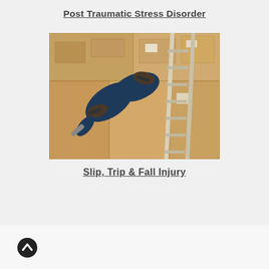[Figure (photo): Partial view of a person falling near a ladder in a warehouse with cardboard boxes stacked in the background — visible legs and feet wearing boots and jeans]
Post Traumatic Stress Disorder
[Figure (photo): Person falling off a ladder in a warehouse or storage room surrounded by stacked cardboard boxes — legs mid-fall visible]
Slip, Trip & Fall Injury
[Figure (other): Back to top arrow icon — circular dark button with upward chevron]